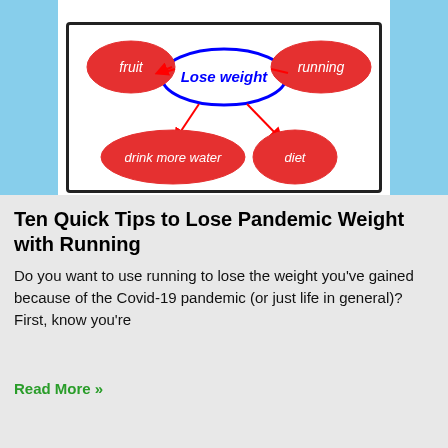[Figure (infographic): A whiteboard diagram showing a weight loss concept map. In the center is a blue oval labeled 'Lose weight'. Connected by red arrows are four red ovals: 'fruit' (top-left), 'running' (top-right), 'drink more water' (bottom-left), 'diet' (bottom-right). Background shows blue sky on the sides.]
Ten Quick Tips to Lose Pandemic Weight with Running
Do you want to use running to lose the weight you've gained because of the Covid-19 pandemic (or just life in general)?  First, know you're
Read More »